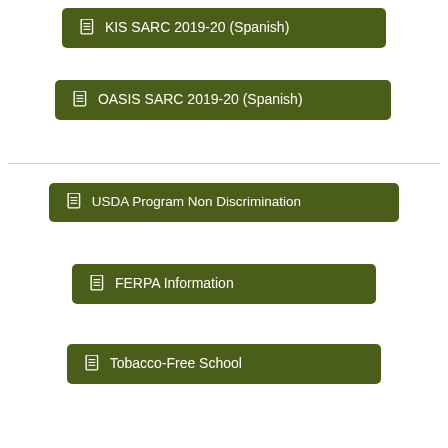🗎 KIS SARC 2019-20 (Spanish)
🗎 OASIS SARC 2019-20 (Spanish)
🗎 USDA Program Non Discrimination
🗎 FERPA Information
🗎 Tobacco-Free School